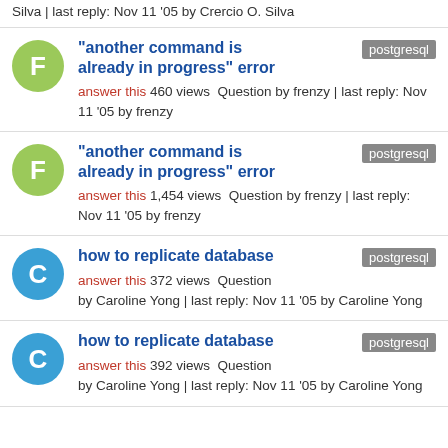Silva | last reply: Nov 11 '05 by Crercio O. Silva
"another command is already in progress" error — answer this 460 views Question by frenzy | last reply: Nov 11 '05 by frenzy — tag: postgresql
"another command is already in progress" error — answer this 1,454 views Question by frenzy | last reply: Nov 11 '05 by frenzy — tag: postgresql
how to replicate database — answer this 372 views Question by Caroline Yong | last reply: Nov 11 '05 by Caroline Yong — tag: postgresql
how to replicate database — answer this 392 views Question by Caroline Yong | last reply: Nov 11 '05 by Caroline Yong — tag: postgresql